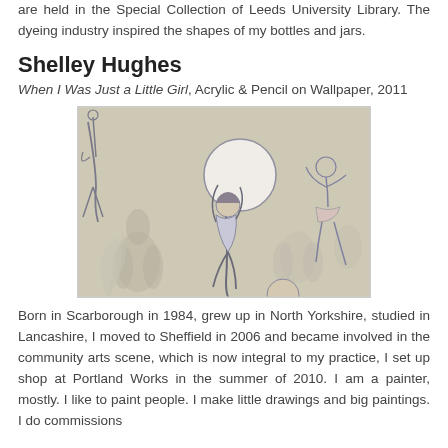are held in the Special Collection of Leeds University Library. The dyeing industry inspired the shapes of my bottles and jars.
Shelley Hughes
When I Was Just a Little Girl, Acrylic & Pencil on Wallpaper, 2011
[Figure (photo): Artwork showing pencil and acrylic drawings of children on wallpaper with decorative floral patterns. A central figure stands with back turned holding a large circle/balloon, with other children figures visible on either side.]
Born in Scarborough in 1984, grew up in North Yorkshire, studied in Lancashire, I moved to Sheffield in 2006 and became involved in the community arts scene, which is now integral to my practice, I set up shop at Portland Works in the summer of 2010. I am a painter, mostly. I like to paint people. I make little drawings and big paintings. I do commissions